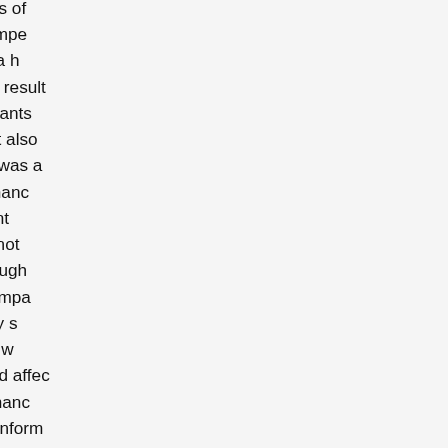actions and avoid acts of omission that might impede chances of reaching a happy retirement. The study results not only were the participants that they were planners. It also found that financial literacy was associated and that becoming financially planning for retirement engaged processes that were not finding was that although may have a positive impact achieving a financially secure other factors such as wealth, control, and luck could affect a retirement that is financially first-hand qualitative information the course of this study comprehension of the scope of financial literacy and retirement and perhaps form the basis of academic research. Finally